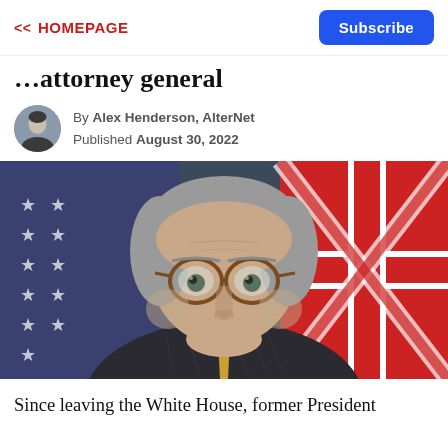<< HOMEPAGE | Subscribe
…attorney general
By Alex Henderson, AlterNet
Published August 30, 2022
[Figure (photo): Close-up photo of William Barr, a gray-haired older man wearing round tortoise-shell glasses and a pinstripe suit with a yellow tie, with American and British flags visible in the background.]
Since leaving the White House, former President